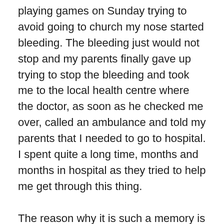playing games on Sunday trying to avoid going to church my nose started bleeding. The bleeding just would not stop and my parents finally gave up trying to stop the bleeding and took me to the local health centre where the doctor, as soon as he checked me over, called an ambulance and told my parents that I needed to go to hospital. I spent quite a long time, months and months in hospital as they tried to help me get through this thing.
The reason why it is such a memory is because, as a result of rheumatic fever, I wasn't allowed to be physical as a child. I wasn't allowed to play sport, and I had to be dropped off and picked up from school in a car, not allowed to run around like